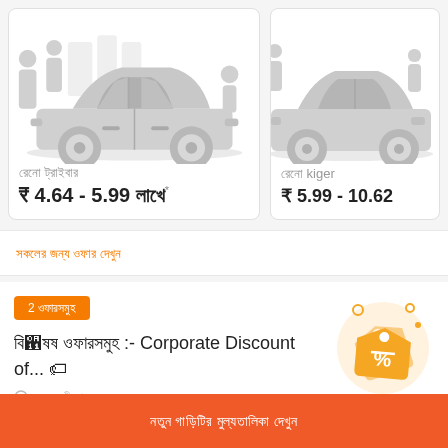[Figure (illustration): Two car listing cards side by side. Left card shows a gray sedan car illustration with text in Tamil/Hindi script and price ₹ 4.64 - 5.99 with asterisk footnote. Right card (partially visible) shows another gray sedan car illustration with 'রেনো kiger' and price ₹ 5.99 - 10.62.]
রেনো ট্রাইবার
₹ 4.64 - 5.99 লাখে*
রেনো kiger
₹ 5.99 - 10.62
সকলের জন্য অফার দেখুন
2 অফারসমূহ
বিশেষ অফারসমূহ :- Corporate Discount of... 🏷
[Figure (illustration): Orange discount tag icon with two overlapping price tags on a light orange circular background]
নতুন গাড়িটির মূল্যতালিকা দেখুন